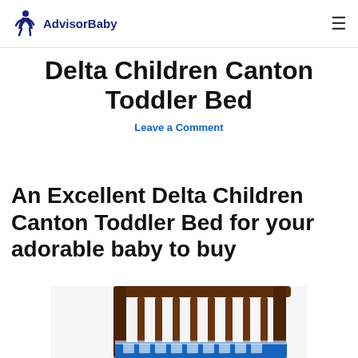AdvisorBaby
Delta Children Canton Toddler Bed
Leave a Comment
An Excellent Delta Children Canton Toddler Bed for your adorable baby to buy
[Figure (photo): Photo of a dark wood Delta Children Canton Toddler Bed with blue bedding, partially visible at bottom of page]